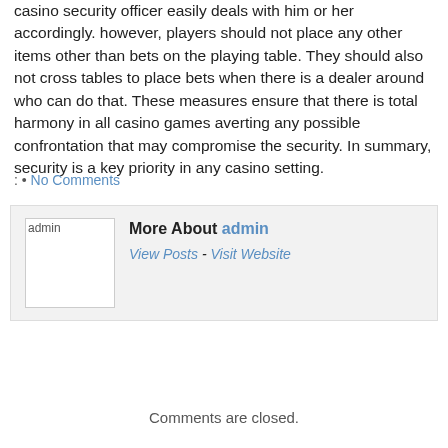casino security officer easily deals with him or her accordingly. however, players should not place any other items other than bets on the playing table. They should also not cross tables to place bets when there is a dealer around who can do that. These measures ensure that there is total harmony in all casino games averting any possible confrontation that may compromise the security. In summary, security is a key priority in any casino setting.
: • No Comments
More About admin
View Posts - Visit Website
Comments are closed.